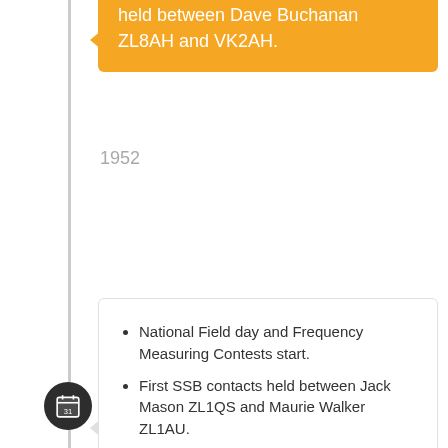held between Dave Buchanan ZL8AH and VK2AH.
1952
National Field day and Frequency Measuring Contests start.
First SSB contacts held between Jack Mason ZL1QS and Maurie Walker ZL1AU.
21.0 to 21.45 MHz is made available for use.
1953
Old Timers' Club is formed (31 May).
Minimum age to obtain an amateur licence is increased to 16.